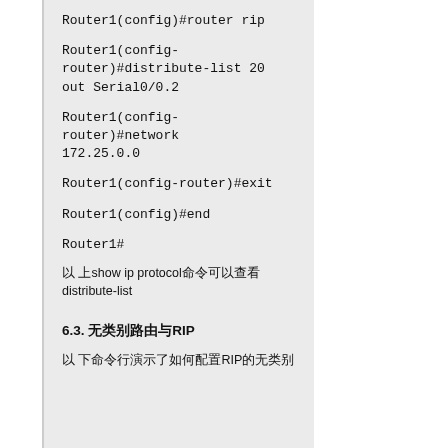Router1(config)#router rip
Router1(config-router)#distribute-list 20 out Serial0/0.2
Router1(config-router)#network 172.25.0.0
Router1(config-router)#exit
Router1(config)#end
Router1#
以 上show ip protocol命令可以查看distribute-list
6.3. 无类别路由与RIP
以 下命令行演示了如何配置RIP的无类别